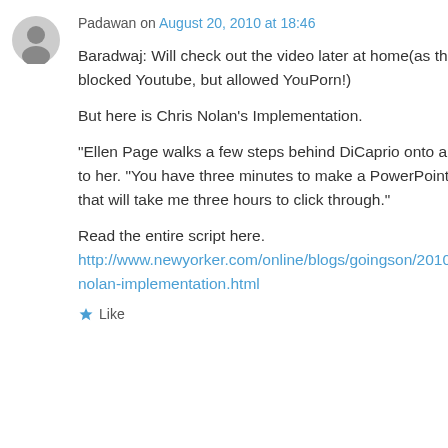Padawan on August 20, 2010 at 18:46
Baradwaj: Will check out the video later at home(as the idiots have blocked Youtube, but allowed YouPorn!)
But here is Chris Nolan’s Implementation.
“Ellen Page walks a few steps behind DiCaprio onto a roof. He turns to her. “You have three minutes to make a PowerPoint presentation that will take me three hours to click through.”
Read the entire script here. http://www.newyorker.com/online/blogs/goingson/2010/07/christopher-nolan-implementation.html
Like